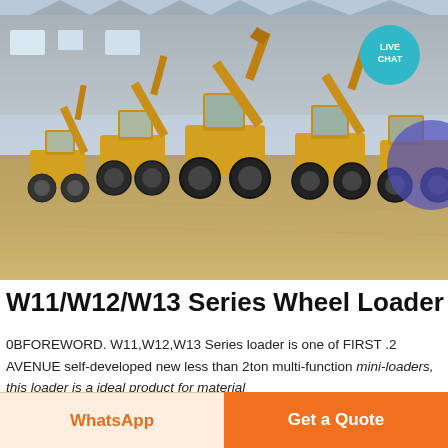[Figure (photo): Multiple yellow wheel loaders (W11/W12/W13 series) parked in a row in a large industrial yard in front of a warehouse building. The machines have backhoe attachments raised upward. A 'LIVE CHAT' teal bubble is visible in the upper right corner of the photo.]
W11/W12/W13 Series Wheel Loader
0BFOREWORD. W11,W12,W13 Series loader is one of FIRST .2 AVENUE self-developed new less than 2ton multi-function mini-loaders, this loader is a ideal product for material
WhatsApp
Get a Quote